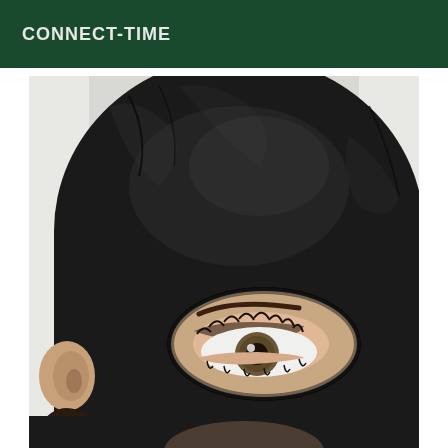CONNECT-TIME
[Figure (photo): Close-up photograph of a person wearing a black spandex/lycra mask/hood with a single oval eye opening, through which one eye with makeup (mascara and eyeshadow) is visible. The figure is set against a light background.]